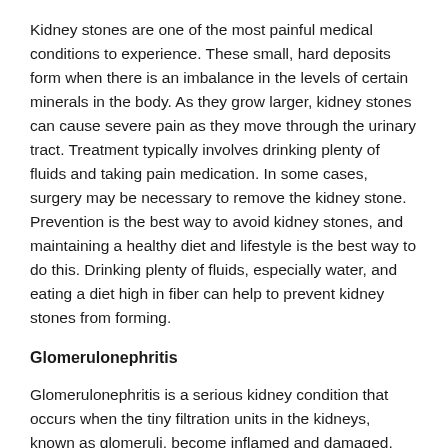Kidney stones are one of the most painful medical conditions to experience. These small, hard deposits form when there is an imbalance in the levels of certain minerals in the body. As they grow larger, kidney stones can cause severe pain as they move through the urinary tract. Treatment typically involves drinking plenty of fluids and taking pain medication. In some cases, surgery may be necessary to remove the kidney stone. Prevention is the best way to avoid kidney stones, and maintaining a healthy diet and lifestyle is the best way to do this. Drinking plenty of fluids, especially water, and eating a diet high in fiber can help to prevent kidney stones from forming.
Glomerulonephritis
Glomerulonephritis is a serious kidney condition that occurs when the tiny filtration units in the kidneys, known as glomeruli, become inflamed and damaged. This can disrupt normal kidney function, causing a buildup of waste products in the bloodstream, resulting in numerous symptoms such as swelling and joint pain. While there is no cure for glomerulonephritis, treatment options can help to reduce inflammation and manage symptoms. These may Include medications to control blood pressure or reduce harmful inflammatory chemicals, along with lifestyle changes to support overall kidney health. With proper medical care and close